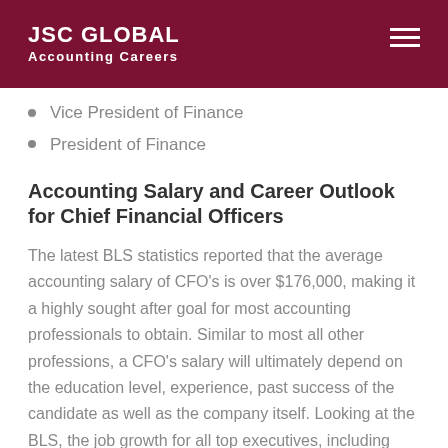JSC GLOBAL Accounting Careers
Vice President of Finance
President of Finance
Accounting Salary and Career Outlook for Chief Financial Officers
The latest BLS statistics reported that the average accounting salary of CFO's is over $176,000, making it a highly sought after goal for most accounting professionals to obtain. Similar to most all other professions, a CFO's salary will ultimately depend on the education level, experience, past success of the candidate as well as the company itself. Looking at the BLS, the job growth for all top executives, including CFO's, is anticipated at five percent annually through the end of this decade.